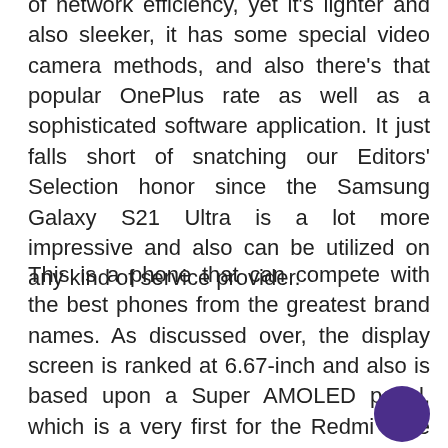of network efficiency, yet it's lighter and also sleeker, it has some special video camera methods, and also there's that popular OnePlus rate as well as a sophisticated software application. It just falls short of snatching our Editors' Selection honor since the Samsung Galaxy S21 Ultra is a lot more impressive and also can be utilized on any kind of service provider.
This is a phone that can compete with the best phones from the greatest brand names. As discussed over, the display screen is ranked at 6.67-inch and also is based upon a Super AMOLED panel, which is a very first for the Redmi Note phones. That outstanding quick charging, as well as the battery-saving screen additionally, make a large distinction in our books. The phone...